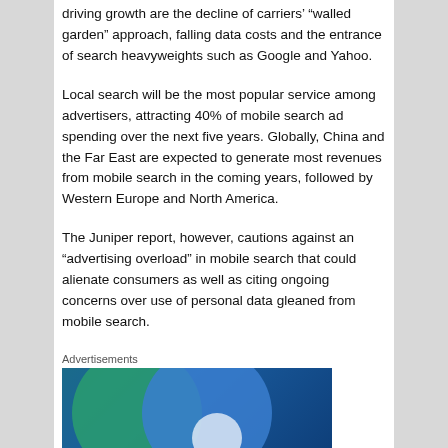driving growth are the decline of carriers' “walled garden” approach, falling data costs and the entrance of search heavyweights such as Google and Yahoo.
Local search will be the most popular service among advertisers, attracting 40% of mobile search ad spending over the next five years. Globally, China and the Far East are expected to generate most revenues from mobile search in the coming years, followed by Western Europe and North America.
The Juniper report, however, cautions against an “advertising overload” in mobile search that could alienate consumers as well as citing ongoing concerns over use of personal data gleaned from mobile search.
Advertisements
[Figure (illustration): Advertisement banner with overlapping green and blue circles on a dark blue background, partially visible at the bottom of the page.]